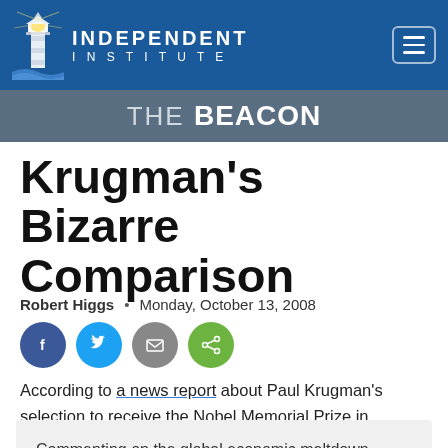Independent Institute — THE BEACON
Krugman's Bizarre Comparison
Robert Higgs  •  Monday, October 13, 2008
[Figure (infographic): Four social sharing buttons: Facebook (blue circle), Twitter (light blue circle), Email (grey circle), Share (green circle)]
According to a news report about Paul Krugman's selection to receive the Nobel Memorial Prize in Economic Sciences:
Commenting on the global economic meltdown, Krugman